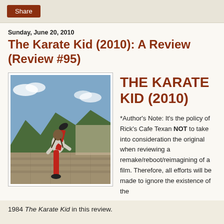Share
Sunday, June 20, 2010
The Karate Kid (2010): A Review (Review #95)
[Figure (photo): A young boy in a red outfit performing a high kick on what appears to be the Great Wall of China with mountains in the background.]
THE KARATE KID (2010)
*Author's Note: It's the policy of Rick's Cafe Texan NOT to take into consideration the original when reviewing a remake/reboot/reimagining of a film. Therefore, all efforts will be made to ignore the existence of the 1984 The Karate Kid in this review.